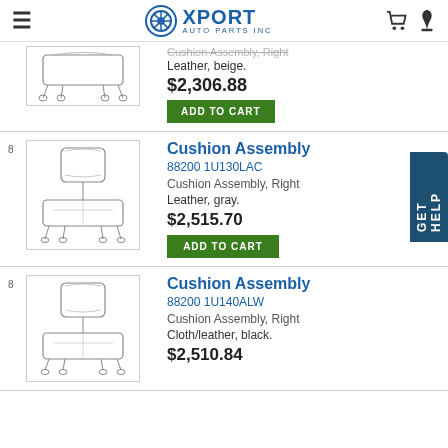Xport Auto Parts Inc
[Figure (screenshot): Partial product listing: Cushion Assembly, Right - Leather, beige. $2,306.88 with Add to Cart button]
Cushion Assembly, Right
Leather, beige.
$2,306.88
ADD TO CART
8
[Figure (illustration): Line drawing of car seat cushion assembly exploded view]
Cushion Assembly
88200 1U130LAC
Cushion Assembly, Right
Leather, gray.
$2,515.70
ADD TO CART
8
[Figure (illustration): Line drawing of car seat cushion assembly exploded view]
Cushion Assembly
88200 1U140ALW
Cushion Assembly, Right
Cloth/leather, black.
$2,510.84